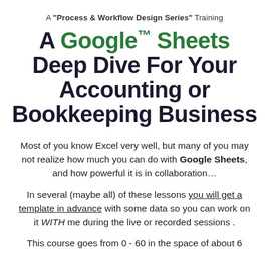A "Process & Workflow Design Series" Training
A Google™ Sheets Deep Dive For Your Accounting or Bookkeeping Business
Most of you know Excel very well, but many of you may not realize how much you can do with Google Sheets, and how powerful it is in collaboration…
In several (maybe all) of these lessons you will get a template in advance with some data so you can work on it WITH me during the live or recorded sessions .
This course goes from 0 - 60 in the space of about 6